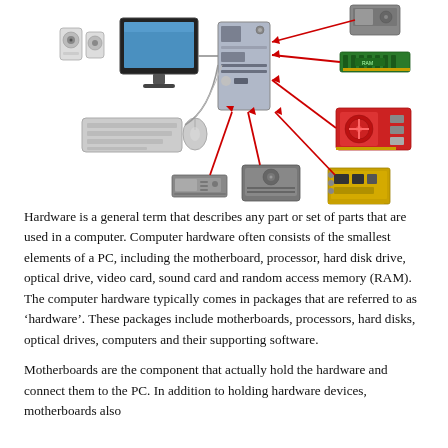[Figure (infographic): Diagram of computer hardware components with red arrows pointing from peripheral components (speakers, monitor, keyboard, mouse, hard drive, CD/DVD drive, RAM, graphics card, sound card) toward a central desktop computer tower, illustrating how various hardware parts connect to a PC.]
Hardware is a general term that describes any part or set of parts that are used in a computer. Computer hardware often consists of the smallest elements of a PC, including the motherboard, processor, hard disk drive, optical drive, video card, sound card and random access memory (RAM). The computer hardware typically comes in packages that are referred to as 'hardware'. These packages include motherboards, processors, hard disks, optical drives, computers and their supporting software.
Motherboards are the component that actually hold the hardware and connect them to the PC. In addition to holding hardware devices, motherboards also